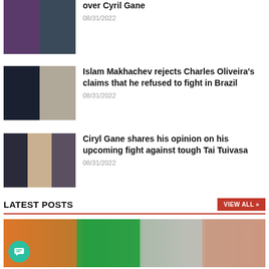[Figure (photo): Partially visible article image showing a fighter]
over Cyril Gane
08/31/2022
[Figure (photo): Two fighters facing off — Islam Makhachev and Charles Oliveira]
Islam Makhachev rejects Charles Oliveira’s claims that he refused to fight in Brazil
08/31/2022
[Figure (photo): Ciryl Gane and Tai Tuivasa at a press event]
Ciryl Gane shares his opinion on his upcoming fight against tough Tai Tuivasa
08/31/2022
LATEST POSTS
[Figure (photo): Large banner image showing crowd at a sporting event]